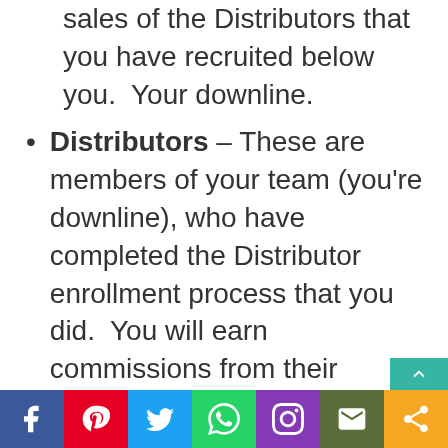sales of the Distributors that you have recruited below you.  Your downline.
Distributors – These are members of your team (you're downline), who have completed the Distributor enrollment process that you did.  You will earn commissions from their recruits and the recruits in their downline and so on, depending upon which rank